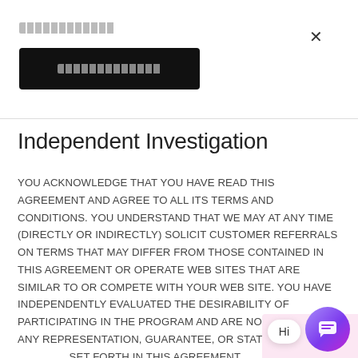[Figure (screenshot): Close button (×) in top right corner of a modal dialog]
[Figure (infographic): Redacted/placeholder text line and a black button with redacted label text]
Independent Investigation
YOU ACKNOWLEDGE THAT YOU HAVE READ THIS AGREEMENT AND AGREE TO ALL ITS TERMS AND CONDITIONS. YOU UNDERSTAND THAT WE MAY AT ANY TIME (DIRECTLY OR INDIRECTLY) SOLICIT CUSTOMER REFERRALS ON TERMS THAT MAY DIFFER FROM THOSE CONTAINED IN THIS AGREEMENT OR OPERATE WEB SITES THAT ARE SIMILAR TO OR COMPETE WITH YOUR WEB SITE. YOU HAVE INDEPENDENTLY EVALUATED THE DESIRABILITY OF PARTICIPATING IN THE PROGRAM AND ARE NOT RELYING ON ANY REPRESENTATION, GUARANTEE, OR STATEMENT OF RESULTS SET FORTH IN THIS AGREEMENT.
[Figure (screenshot): Chat widget showing 'Hi' speech bubble and purple chat icon with pink corner background]